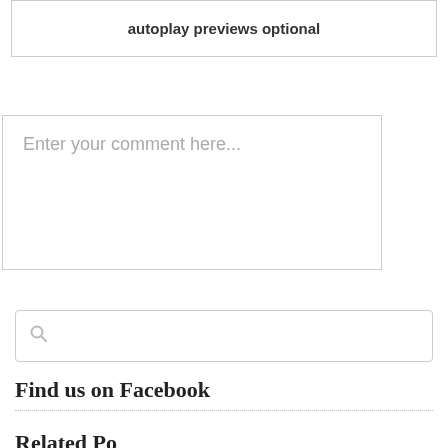autoplay previews optional
Enter your comment here...
[Figure (other): Search input box with magnifying glass icon]
Find us on Facebook
Related Posts